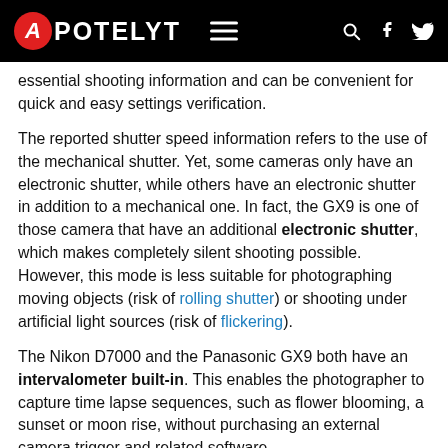APOTELYT
essential shooting information and can be convenient for quick and easy settings verification.
The reported shutter speed information refers to the use of the mechanical shutter. Yet, some cameras only have an electronic shutter, while others have an electronic shutter in addition to a mechanical one. In fact, the GX9 is one of those camera that have an additional electronic shutter, which makes completely silent shooting possible. However, this mode is less suitable for photographing moving objects (risk of rolling shutter) or shooting under artificial light sources (risk of flickering).
The Nikon D7000 and the Panasonic GX9 both have an intervalometer built-in. This enables the photographer to capture time lapse sequences, such as flower blooming, a sunset or moon rise, without purchasing an external camera trigger and related software.
Concerning the storage of imaging data, both the D7000 and the GX9 write their files to SDXC cards. The D7000